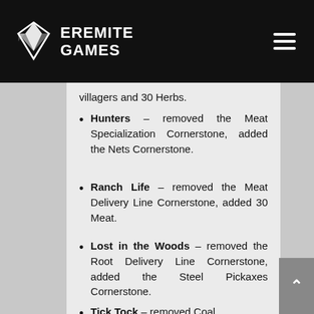EREMITE GAMES
villagers and 30 Herbs.
Hunters – removed the Meat Specialization Cornerstone, added the Nets Cornerstone.
Ranch Life – removed the Meat Delivery Line Cornerstone, added 30 Meat.
Lost in the Woods – removed the Root Delivery Line Cornerstone, added the Steel Pickaxes Cornerstone.
Tick Tock – removed Coal